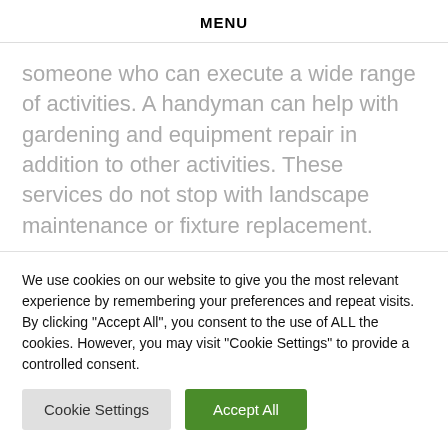MENU
someone who can execute a wide range of activities. A handyman can help with gardening and equipment repair in addition to other activities. These services do not stop with landscape maintenance or fixture replacement.
What exactly is a “qualified handyman”?
We use cookies on our website to give you the most relevant experience by remembering your preferences and repeat visits. By clicking "Accept All", you consent to the use of ALL the cookies. However, you may visit "Cookie Settings" to provide a controlled consent.
Cookie Settings | Accept All